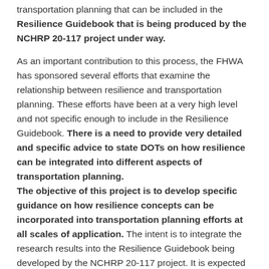transportation planning that can be included in the Resilience Guidebook that is being produced by the NCHRP 20-117 project under way.
As an important contribution to this process, the FHWA has sponsored several efforts that examine the relationship between resilience and transportation planning. These efforts have been at a very high level and not specific enough to include in the Resilience Guidebook. There is a need to provide very detailed and specific advice to state DOTs on how resilience can be integrated into different aspects of transportation planning.
The objective of this project is to develop specific guidance on how resilience concepts can be incorporated into transportation planning efforts at all scales of application. The intent is to integrate the research results into the Resilience Guidebook being developed by the NCHRP 20-117 project. It is expected that the research will look at different types